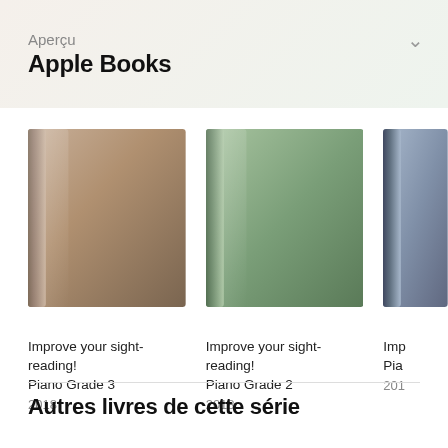Aperçu
Apple Books
[Figure (illustration): Book cover for 'Improve your sight-reading! Piano Grade 3' — gradient tan/brown colored book spine and cover]
Improve your sight-reading! Piano Grade 3
2018
[Figure (illustration): Book cover for 'Improve your sight-reading! Piano Grade 2' — gradient green colored book spine and cover]
Improve your sight-reading! Piano Grade 2
2018
[Figure (illustration): Partially visible book cover (blue/grey gradient) — truncated at right edge]
Imp...
Pia...
201...
Autres livres de cette série